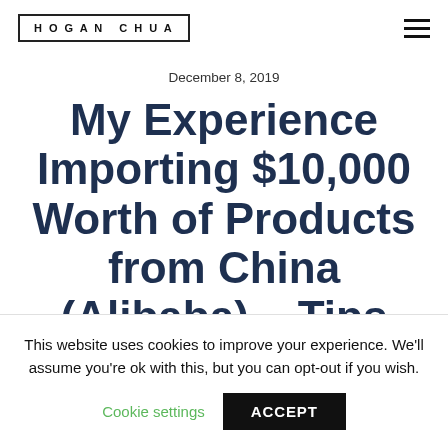HOGAN CHUA
December 8, 2019
My Experience Importing $10,000 Worth of Products from China (Alibaba) – Tips & Mistakes!
This website uses cookies to improve your experience. We'll assume you're ok with this, but you can opt-out if you wish.
Cookie settings   ACCEPT